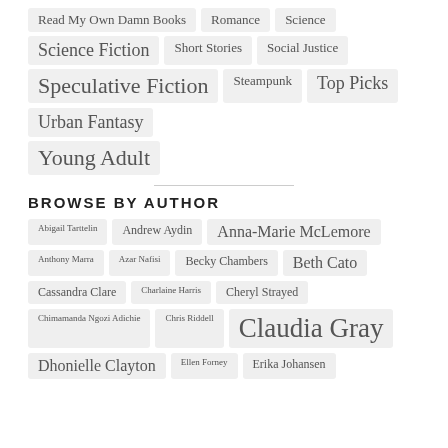Read My Own Damn Books
Romance
Science
Science Fiction
Short Stories
Social Justice
Speculative Fiction
Steampunk
Top Picks
Urban Fantasy
Young Adult
BROWSE BY AUTHOR
Abigail Tarttelin
Andrew Aydin
Anna-Marie McLemore
Anthony Marra
Azar Nafisi
Becky Chambers
Beth Cato
Cassandra Clare
Charlaine Harris
Cheryl Strayed
Chimamanda Ngozi Adichie
Chris Riddell
Claudia Gray
Dhonielle Clayton
Ellen Forney
Erika Johansen